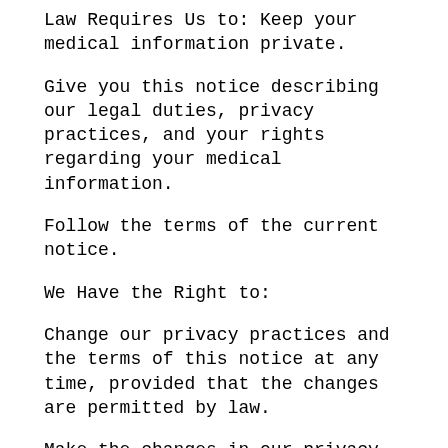Law Requires Us to: Keep your medical information private.
Give you this notice describing our legal duties, privacy practices, and your rights regarding your medical information.
Follow the terms of the current notice.
We Have the Right to:
Change our privacy practices and the terms of this notice at any time, provided that the changes are permitted by law.
Make the changes in our privacy practices and the new terms of our notice effective for all medical information
that we keep, including information previously created or received before the changes.